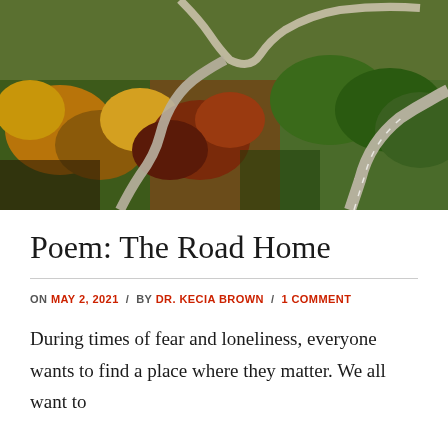[Figure (photo): Aerial view of winding roads through autumn-colored forest landscape with green hills]
Poem: The Road Home
ON MAY 2, 2021 / BY DR. KECIA BROWN / 1 COMMENT
During times of fear and loneliness, everyone wants to find a place where they matter. We all want to